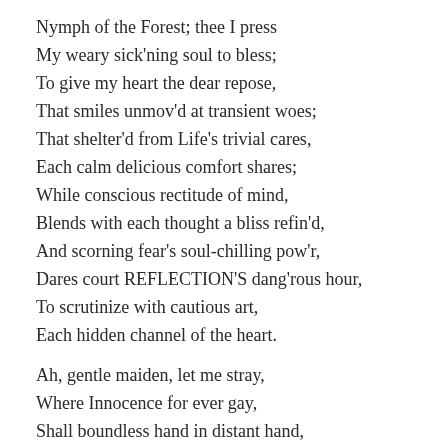Nymph of the Forest; thee I press
My weary sick'ning soul to bless;
To give my heart the dear repose,
That smiles unmov'd at transient woes;
That shelter'd from Life's trivial cares,
Each calm delicious comfort shares;
While conscious rectitude of mind,
Blends with each thought a bliss refin'd,
And scorning fear's soul-chilling pow'r,
Dares court REFLECTION'S dang'rous hour,
To scrutinize with cautious art,
Each hidden channel of the heart.

Ah, gentle maiden, let me stray,
Where Innocence for ever gay,
Shall boundless hand in distant hand,